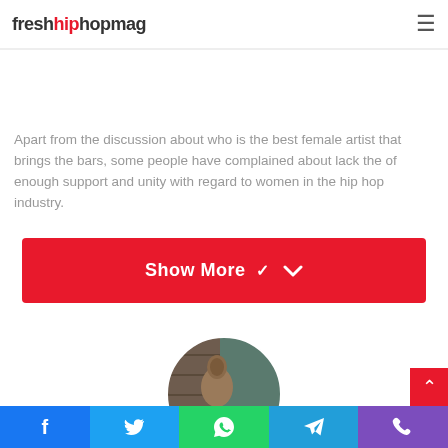freshhiphopmag
to retract and even deny the statement. The latest uproar has caused her to stand her ground and double down on her prenuptial remarks.
Apart from the discussion about who is the best female artist that brings the bars, some people have complained about lack the of enough support and unity with regard to women in the hip hop industry.
[Figure (other): Red 'Show More' button with chevron down icon]
[Figure (photo): Circular avatar photo showing a stone/brick sculpture of a human figure against a brick wall]
Social share bar: Facebook, Twitter, WhatsApp, Telegram, Phone